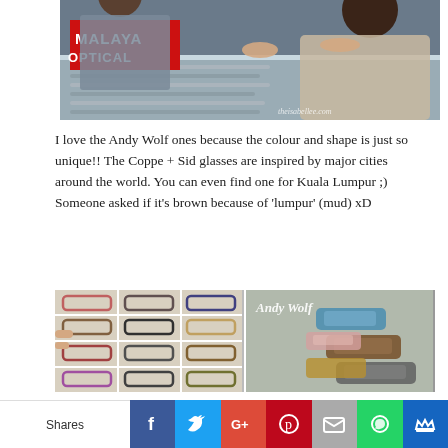[Figure (photo): Photo of a person browsing glasses at a Malaya Optical store counter, with red and white Malaya Optical signage visible, and a watermark 'theisabellee.com' in the bottom right corner.]
I love the Andy Wolf ones because the colour and shape is just so unique!! The Coppe + Sid glasses are inspired by major cities around the world. You can even find one for Kuala Lumpur ;) Someone asked if it's brown because of 'lumpur' (mud) xD
[Figure (photo): Two side-by-side photos: left shows multiple eyeglass frames in display trays at an optical store; right shows colorful Andy Wolf branded eyeglass frames with 'Andy Wolf' text overlay.]
Shares | Facebook | Twitter | Google+ | Pinterest | Email | WhatsApp | Crown